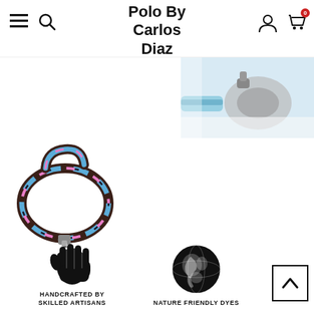Polo By Carlos Diaz — navigation header with hamburger menu, search, user icon, cart (0)
[Figure (photo): Close-up product photo of a polo belt/spur metal hardware with blue leather strap, top-right corner]
[Figure (photo): Polo dog leash / bracelet in brown leather with blue and pink polo pattern, coiled up, center-left]
[Figure (illustration): Hand icon indicating handcrafted, with label HANDCRAFTED BY SKILLED ARTISANS]
[Figure (illustration): Globe/earth icon indicating nature friendly dyes, with label NATURE FRIENDLY DYES]
HANDCRAFTED BY SKILLED ARTISANS
NATURE FRIENDLY DYES